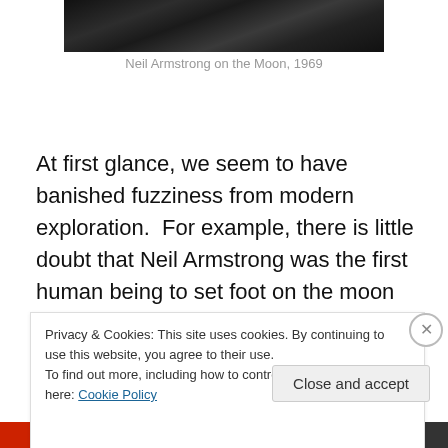[Figure (photo): Black and white photograph of Neil Armstrong on the Moon, 1969, showing a dark lunar surface image cropped at top of page]
Neil Armstrong on the Moon, 1969
At first glance, we seem to have banished fuzziness from modern exploration.  For example, there is little doubt that Neil Armstrong was the first human being to set foot on the moon since the event was captured on film and audio recordings, transmitted by telemetry, and confirmed by
Privacy & Cookies: This site uses cookies. By continuing to use this website, you agree to their use.
To find out more, including how to control cookies, see here: Cookie Policy
Close and accept